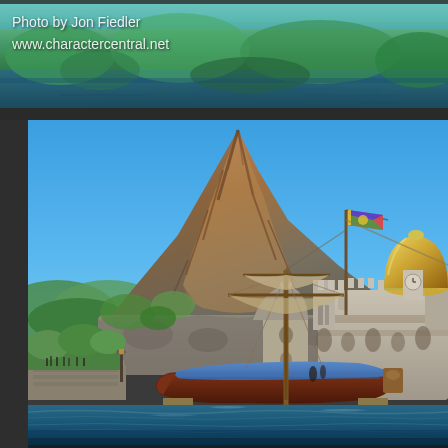[Figure (photo): Top strip: nature/foliage photo with green trees and water, watermark text overlay reading 'Photo by Jon Fiedler' and 'www.charactercentral.net']
[Figure (photo): Main large photo of a theme park scene (Tokyo DisneySea) showing Mount Prometheus volcanic mountain, a pirate sailing ship docked at a waterfront, ornate castle/fortress buildings with a golden dome, blue sky, and harbor water in the foreground. Photo credit: Jon Fiedler, www.charactercentral.net]